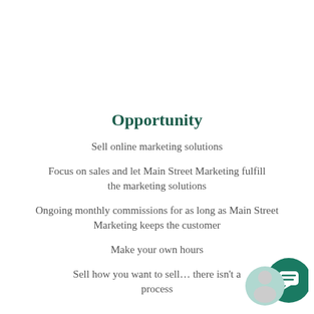Opportunity
Sell online marketing solutions
Focus on sales and let Main Street Marketing fulfill the marketing solutions
Ongoing monthly commissions for as long as Main Street Marketing keeps the customer
Make your own hours
Sell how you want to sell… there isn't a process
[Figure (illustration): Teal chat bubble icon with a person photo in the bottom-right corner of the page]